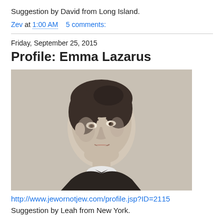Suggestion by David from Long Island.
Zev at 1:00 AM    5 comments:
Friday, September 25, 2015
Profile: Emma Lazarus
[Figure (photo): Black and white portrait photograph of Emma Lazarus, a young woman with dark hair pulled up, wearing a dark dress with a white collar and bow tie.]
http://www.jewornotjew.com/profile.jsp?ID=2115
Suggestion by Leah from New York.